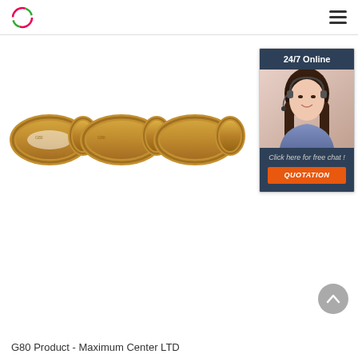G80 Product - Maximum Center LTD
[Figure (photo): Gold/yellow zinc-plated G80 grade 80 steel chain with multiple oval links, shown horizontally against white background. Links show manufacturer markings.]
[Figure (photo): 24/7 Online chat widget showing a smiling woman wearing a headset, with 'Click here for free chat!' text and an orange QUOTATION button on a dark navy background.]
G80 Product - Maximum Center LTD